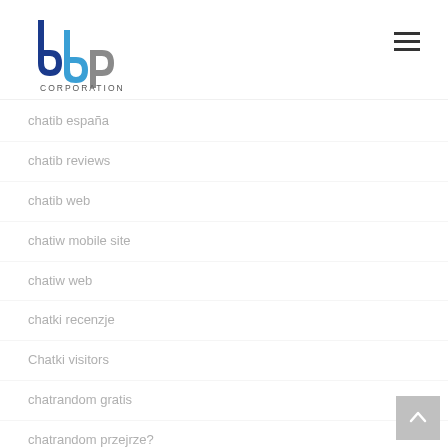[Figure (logo): BBP Corporation logo with blue and gray letters and 'CORPORATION' text below]
chatib espara
chatib reviews
chatib web
chatiw mobile site
chatiw web
chatki recenzje
Chatki visitors
chatrandom gratis
chatrandom przejrze?
chatrandom sign in